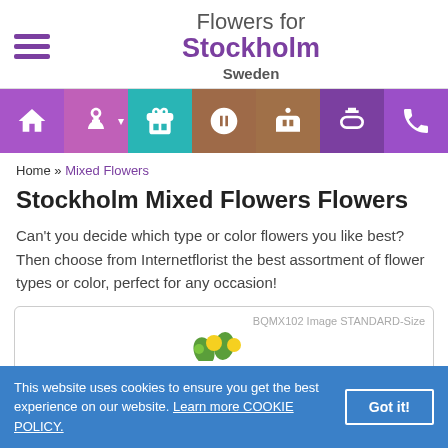Flowers for Stockholm Sweden
[Figure (screenshot): Navigation bar with icons: home, flowers (with dropdown arrow), gifts, chocolates, cake, perfume, phone]
Home » Mixed Flowers
Stockholm Mixed Flowers Flowers
Can't you decide which type or color flowers you like best? Then choose from Internetflorist the best assortment of flower types or color, perfect for any occasion!
[Figure (screenshot): Product card placeholder showing 'BQMX102 Image STANDARD-Size' with partial flower image visible at bottom]
This website uses cookies to ensure you get the best experience on our website. Learn more COOKIE POLICY. Got it!